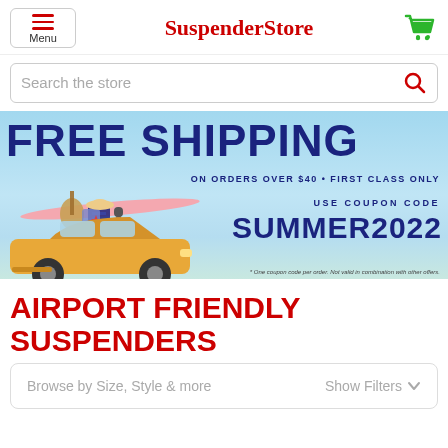Menu | SuspenderStore | [cart icon]
Search the store
[Figure (infographic): Promotional banner showing FREE SHIPPING on orders over $40 • First Class Only. Use coupon code SUMMER2022. Background shows a summer beach scene with a yellow car loaded with luggage, surfboard, guitar on the roof. Fine print: One coupon code per order. Not valid in combination with other offers.]
AIRPORT FRIENDLY SUSPENDERS
Browse by Size, Style & more   Show Filters ∨